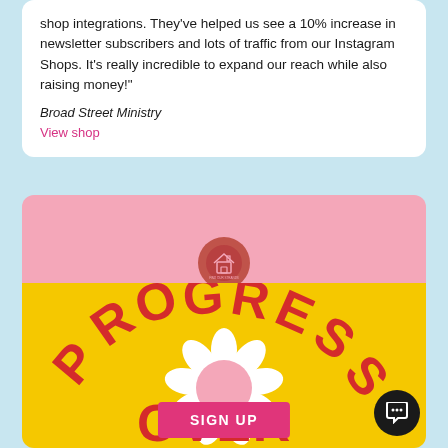shop integrations. They've helped us see a 10% increase in newsletter subscribers and lots of traffic from our Instagram Shops. It's really incredible to expand our reach while also raising money!"
Broad Street Ministry
View shop
[Figure (illustration): Pink band with circular logo icon (house/store graphic on dark red circle), followed by yellow background with bold red retro curved text reading 'PROGRESS OVER' with a white daisy flower in center, and a pink SIGN UP button at bottom]